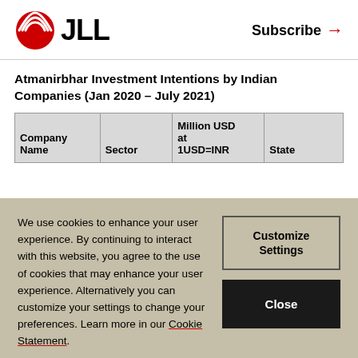JLL | Subscribe →
Atmanirbhar Investment Intentions by Indian Companies (Jan 2020 – July 2021)
| Company Name | Sector | Million USD at 1USD=INR | State |
| --- | --- | --- | --- |
We use cookies to enhance your user experience. By continuing to interact with this website, you agree to the use of cookies that may enhance your user experience. Alternatively you can customize your settings to change your preferences. Learn more in our Cookie Statement.